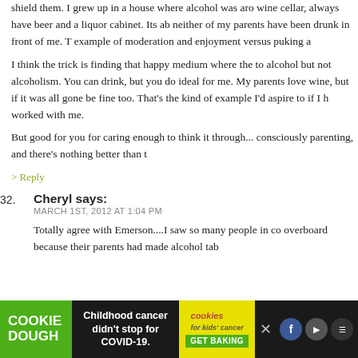shield them. I grew up in a house where alcohol was aro wine cellar, always have beer and a liquor cabinet. Its ab neither of my parents have been drunk in front of me. T example of moderation and enjoyment versus puking a
I think the trick is finding that happy medium where the to alcohol but not alcoholism. You can drink, but you do ideal for me. My parents love wine, but if it was all gone be fine too. That's the kind of example I'd aspire to if I h worked with me.
But good for you for caring enough to think it through... consciously parenting, and there's nothing better than t
> Reply
32. Cheryl says:
MARCH 1ST, 2012 AT 1:04 PM
Totally agree with Emerson....I saw so many people in co overboard because their parents had made alcohol tab
[Figure (other): Advertisement bar at bottom: Cookie Dough green logo, childhood cancer COVID-19 text, cookies for kids cancer GET BAKING button, social media icons]